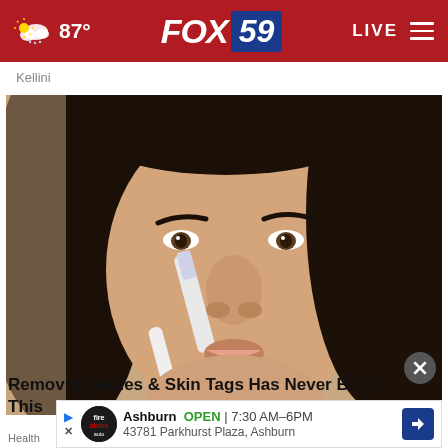FOX 59 | 87° | LIVE
Kellini
[Figure (photo): Close-up photo of a young woman with dark hair applying or touching her nose area with a white tool or strip, possibly demonstrating a skincare or mole/skin tag removal technique. The background is beige/tan.]
Removing Moles & Skin Tags Has Never Been This...
Health
[Figure (other): Firestone Auto Care advertisement overlay showing business name Ashburn, OPEN 7:30 AM-6PM, 43781 Parkhurst Plaza, Ashburn, with a blue navigation arrow icon]